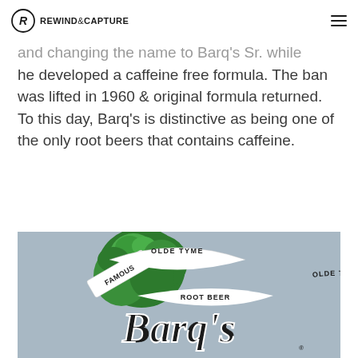REWIND&CAPTURE
and changing the name to Barq's Sr. while he developed a caffeine free formula. The ban was lifted in 1960 & original formula returned. To this day, Barq's is distinctive as being one of the only root beers that contains caffeine.
[Figure (logo): Barq's Famous Olde Tyme Root Beer logo on a grey-blue background featuring green foliage and black and white script lettering]